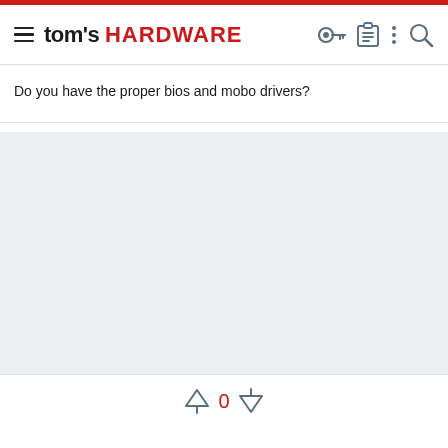tom's HARDWARE
Do you have the proper bios and mobo drivers?